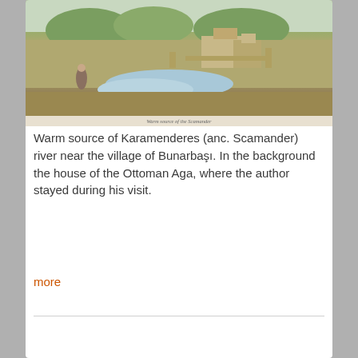[Figure (illustration): Historical engraving or illustration of the warm source of Karamenderes (ancient Scamander) river near the village of Bunarbaşı, showing water features and landscape with Ottoman buildings in the background. A caption in cursive script appears at the bottom of the image.]
Warm source of Karamenderes (anc. Scamander) river near the village of Bunarbaşı. In the background the house of the Ottoman Aga, where the author stayed during his visit.
more